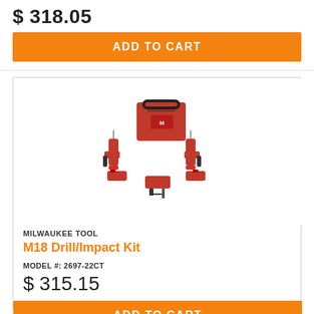$ 318.05
ADD TO CART
[Figure (photo): Milwaukee Tool M18 Drill/Impact Kit with carrying bag, two drills, battery packs, and charger]
MILWAUKEE TOOL
M18 Drill/Impact Kit
MODEL #: 2697-22CT
$ 315.15
ADD TO CART